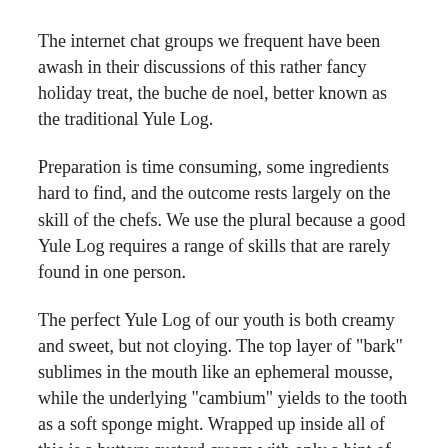The internet chat groups we frequent have been awash in their discussions of this rather fancy holiday treat, the buche de noel, better known as the traditional Yule Log.
Preparation is time consuming, some ingredients hard to find, and the outcome rests largely on the skill of the chefs. We use the plural because a good Yule Log requires a range of skills that are rarely found in one person.
The perfect Yule Log of our youth is both creamy and sweet, but not cloying. The top layer of "bark" sublimes in the mouth like an ephemeral mousse, while the underlying "cambium" yields to the tooth as a soft sponge might. Wrapped up inside all of this is a buttery custard cream with only a hint of vanilla and other "natural" flavors.